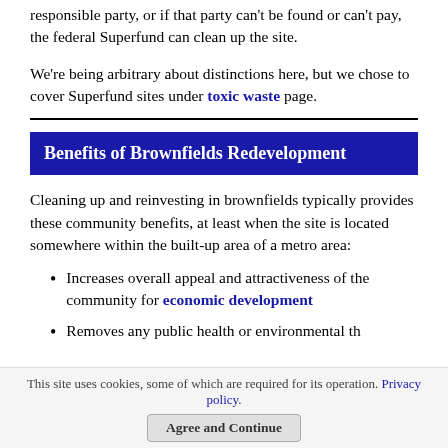responsible party, or if that party can't be found or can't pay, the federal Superfund can clean up the site.
We're being arbitrary about distinctions here, but we chose to cover Superfund sites under toxic waste page.
Benefits of Brownfields Redevelopment
Cleaning up and reinvesting in brownfields typically provides these community benefits, at least when the site is located somewhere within the built-up area of a metro area:
Increases overall appeal and attractiveness of the community for economic development
Removes any public health or environmental th...
This site uses cookies, some of which are required for its operation. Privacy policy. Agree and Continue